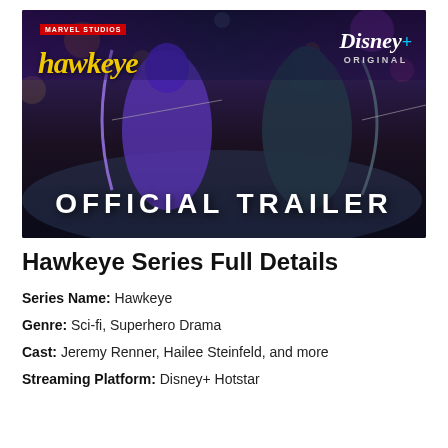[Figure (photo): Hawkeye Marvel Studios Disney+ Original Official Trailer thumbnail showing two archer characters in dark action scene]
Hawkeye Series Full Details
Series Name: Hawkeye
Genre: Sci-fi, Superhero Drama
Cast: Jeremy Renner, Hailee Steinfeld, and more
Streaming Platform: Disney+ Hotstar